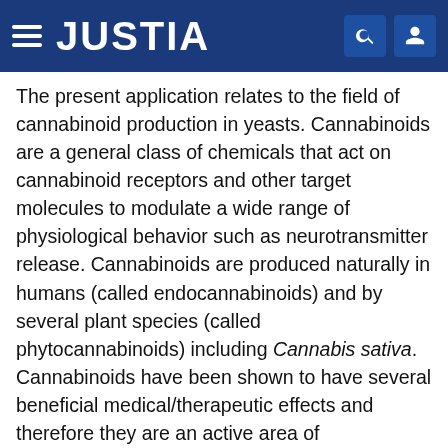JUSTIA
The present application relates to the field of cannabinoid production in yeasts. Cannabinoids are a general class of chemicals that act on cannabinoid receptors and other target molecules to modulate a wide range of physiological behavior such as neurotransmitter release. Cannabinoids are produced naturally in humans (called endocannabinoids) and by several plant species (called phytocannabinoids) including Cannabis sativa. Cannabinoids have been shown to have several beneficial medical/therapeutic effects and therefore they are an active area of investigation by the pharmaceutical industry for use as pharmaceutical products for various diseases.
Currently the production of cannabinoids for pharmaceutical or other use is done by chemical synthesis or through the extraction of cannabinoids from plants that express during the cannabinoids from